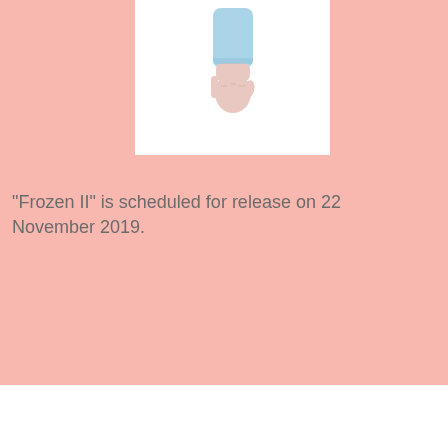[Figure (illustration): Illustration of a hand/arm in light blue sleeve reaching downward, shown against a white background panel]
"Frozen II" is scheduled for release on 22 November 2019.